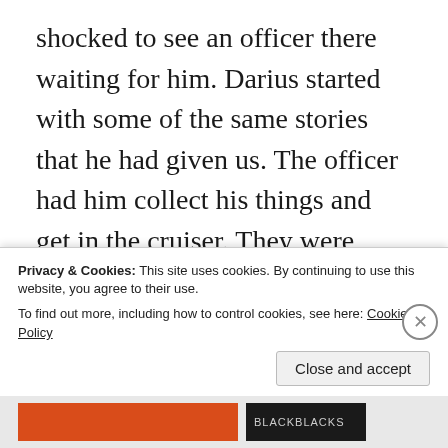shocked to see an officer there waiting for him. Darius started with some of the same stories that he had given us. The officer had him collect his things and get in the cruiser. They were going to drive around until they found Darius’s mom. As they left, I breathed a sigh of relief.
Privacy & Cookies: This site uses cookies. By continuing to use this website, you agree to their use.
To find out more, including how to control cookies, see here: Cookie Policy
Close and accept